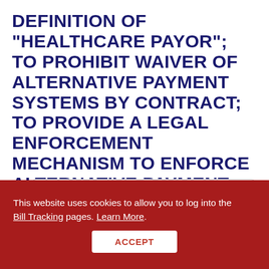DEFINITION OF "HEALTHCARE PAYOR"; TO PROHIBIT WAIVER OF ALTERNATIVE PAYMENT SYSTEMS BY CONTRACT; TO PROVIDE A LEGAL ENFORCEMENT MECHANISM TO ENFORCE ALTERNATIVE PAYMENT SYSTEMS.
Bill Number:
[Figure (other): PDF document icon with red document symbol and 'PDF' label below]
SB498
This website uses cookies to allow you to log into the Bill Tracking pages. Learn More.
ACCEPT